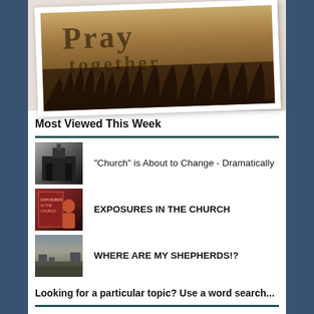[Figure (photo): Vintage sepia-toned image with large text 'Pray together' overlaid, showing silhouetted bare trees against a golden-brown textured background, presented as a framed photograph slightly tilted]
Most Viewed This Week
"Church" is About to Change - Dramatically
EXPOSURES IN THE CHURCH
WHERE ARE MY SHEPHERDS!?
Looking for a particular topic? Use a word search...